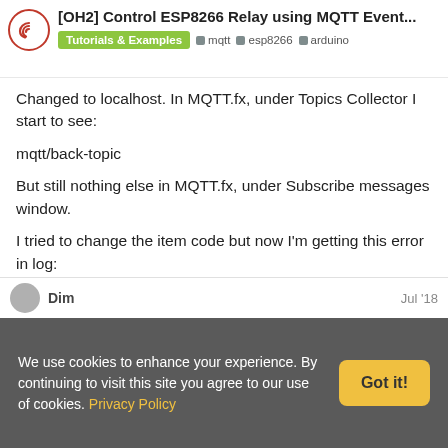[OH2] Control ESP8266 Relay using MQTT Event... | Tutorials & Examples | mqtt | esp8266 | arduino
Changed to localhost. In MQTT.fx, under Topics Collector I start to see:
mqtt/back-topic
But still nothing else in MQTT.fx, under Subscribe messages window.
I tried to change the item code but now I'm getting this error in log:
[Figure (screenshot): Code block showing: org.eclipse.smarthome.model.item.BindingConf (truncated) with a copy icon]
Dim   Jul '18
We use cookies to enhance your experience. By continuing to visit this site you agree to our use of cookies. Privacy Policy